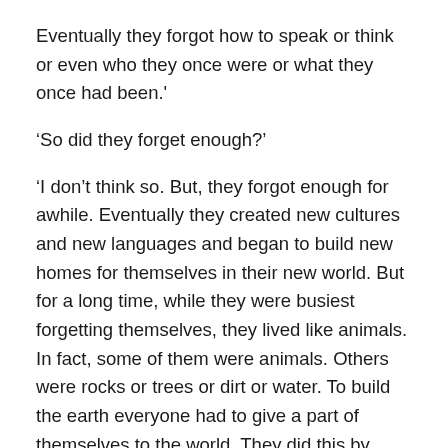Eventually they forgot how to speak or think or even who they once were or what they once had been.'
‘So did they forget enough?'
‘I don’t think so. But, they forgot enough for awhile. Eventually they created new cultures and new languages and began to build new homes for themselves in their new world. But for a long time, while they were busiest forgetting themselves, they lived like animals. In fact, some of them were animals. Others were rocks or trees or dirt or water. To build the earth everyone had to give a part of themselves to the world. They did this by time-sharing. For awhile they might be a rock or a turtle or a breeze or a current or something. At other times they could be a plant or a creature or a person. There were a lot of different kinds of people then, more than there are now. The people